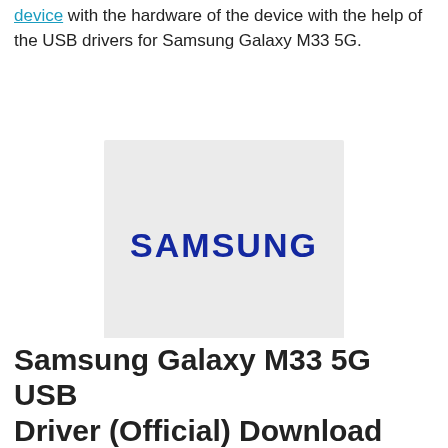device with the hardware of the device with the help of the USB drivers for Samsung Galaxy M33 5G.
[Figure (logo): Samsung logo in dark blue text on a light gray background rectangle]
On this page
1. Samsung Galaxy M33 5G USB Driver (Official) Download
1.1. Samsung Galaxy M33 5G ADB Driver Download
1.2. How to Install Samsung Galaxy M33 5G USB Drivers for Windows
1.3. What is a USB Driver?
1.4. How to Install a USB driver?
1.5. How to Install OEM USB drivers?
1.5.1. Supported Operating Systems 32-bit / 64-bit
Samsung Galaxy M33 5G USB Driver (Official) Download